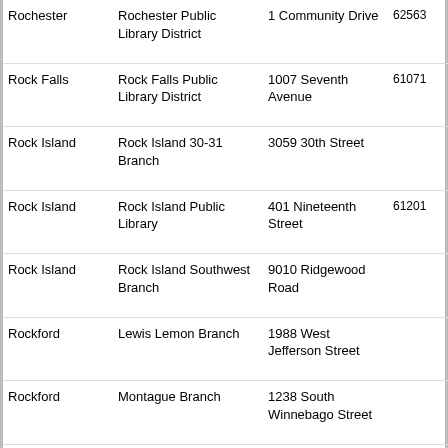| City | Library Name | Address | ZIP | Phone |
| --- | --- | --- | --- | --- |
| Rochester | Rochester Public Library District | 1 Community Drive | 62563 | (217) 498-8454 |
| Rock Falls | Rock Falls Public Library District | 1007 Seventh Avenue | 61071 | (815) 626-3958 |
| Rock Island | Rock Island 30-31 Branch | 3059 30th Street |  | (309) 732-7369 |
| Rock Island | Rock Island Public Library | 401 Nineteenth Street | 61201 | (309) 732-7323 |
| Rock Island | Rock Island Southwest Branch | 9010 Ridgewood Road |  | (309) 732-7338 |
| Rockford | Lewis Lemon Branch | 1988 West Jefferson Street |  | (815) 962-4767 |
| Rockford | Montague Branch | 1238 South Winnebago Street |  | (815) 965-1912 |
| Rockford | Northeast Branch | 320 North Alpine Road |  | (815) 226-1533 |
| Rockford | Rock River Branch | 3128 11th Street |  | (815) 398-7514 |
| Rockford | Rockford Public Library | 215 North Wyman Street | 61101 | (815) 965-7606 |
| Rockford | Rockton Centre Branch | 3114 North Rockton |  | (815) 963- |